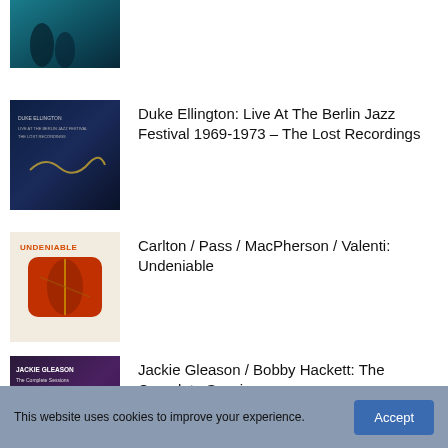[Figure (photo): Partial album cover visible at top — blue-green tinted photo of musicians]
[Figure (photo): Duke Ellington album cover — dark blue with gold signature, small text at top]
Duke Ellington: Live At The Berlin Jazz Festival 1969-1973 – The Lost Recordings
[Figure (photo): Undeniable album cover — cream background with red/orange rounded square artwork, text reading UNDENIABLE]
Carlton / Pass / MacPherson / Valenti: Undeniable
[Figure (photo): Jackie Gleason / Bobby Hackett album cover — purple/dark collage of portraits]
Jackie Gleason / Bobby Hackett: The Complete Sessions
[Figure (photo): Butcher Brown album cover — dark with circular golden graphic]
Butcher Brown: Presents Triple Trey featuring Tennishu and R4nd4zzo Bigh4nd
This website uses cookies to improve your experience.